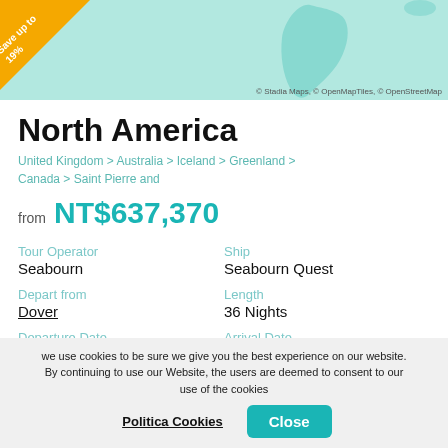[Figure (map): World map background in teal/light blue showing South America silhouette, with an orange discount badge in top-left corner reading 'Save up to 19%' and map attribution in bottom-right.]
North America
United Kingdom > Australia > Iceland > Greenland > Canada > Saint Pierre and
from NT$637,370
Tour Operator
Seabourn
Ship
Seabourn Quest
Depart from
Dover
Length
36 Nights
Departure Date
01 August 2023
Arrival Date
06 September 2023
we use cookies to be sure we give you the best experience on our website. By continuing to use our Website, the users are deemed to consent to our use of the cookies
Politica Cookies
Close